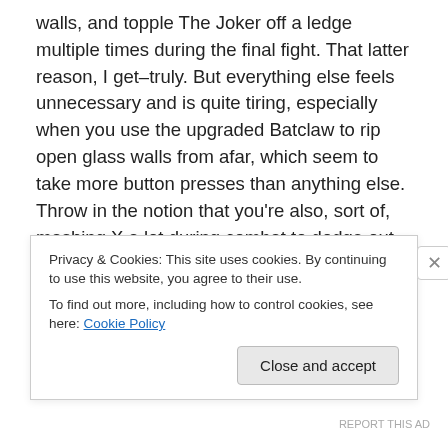walls, and topple The Joker off a ledge multiple times during the final fight. That latter reason, I get–truly. But everything else feels unnecessary and is quite tiring, especially when you use the upgraded Batclaw to rip open glass walls from afar, which seem to take more button presses than anything else. Throw in the notion that you're also, sort of, mashing X a lot during combat to dodge out of the way, and well…that button is getting some seriously loving. I'm not generally opposed to these kind of mini-mash QTE festivals, but Batman uses vents a lot, certainly more than doors, and I don't understand why it couldn't
Privacy & Cookies: This site uses cookies. By continuing to use this website, you agree to their use.
To find out more, including how to control cookies, see here: Cookie Policy
REPORT THIS AD